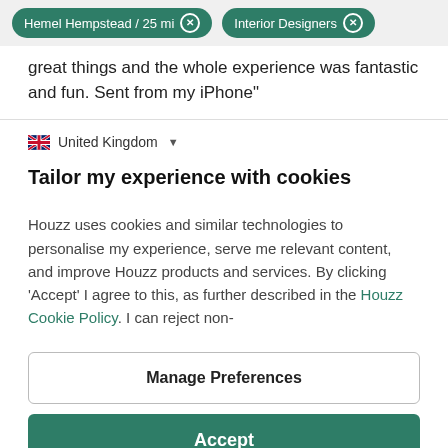Hemel Hempstead / 25 mi  ×    Interior Designers  ×
great things and the whole experience was fantastic and fun. Sent from my iPhone"
🇬🇧 United Kingdom ▾
Tailor my experience with cookies
Houzz uses cookies and similar technologies to personalise my experience, serve me relevant content, and improve Houzz products and services. By clicking 'Accept' I agree to this, as further described in the Houzz Cookie Policy. I can reject non-
Manage Preferences
Accept